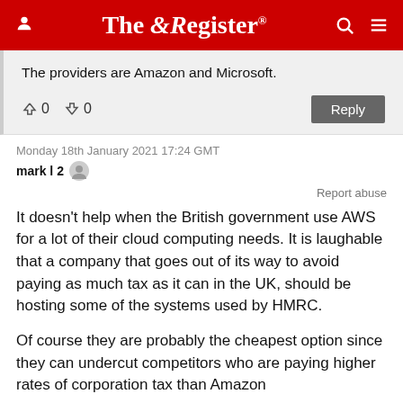The Register
The providers are Amazon and Microsoft.
↑0  ↓0
Monday 18th January 2021 17:24 GMT
mark l 2
Report abuse
It doesn't help when the British government use AWS for a lot of their cloud computing needs. It is laughable that a company that goes out of its way to avoid paying as much tax as it can in the UK, should be hosting some of the systems used by HMRC.

Of course they are probably the cheapest option since they can undercut competitors who are paying higher rates of corporation tax than Amazon
↑9  ↓0